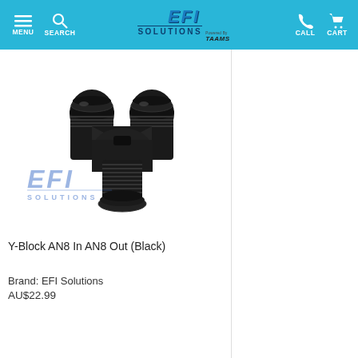MENU | SEARCH | EFI SOLUTIONS | CALL | CART
[Figure (photo): Black anodized aluminum Y-block fitting with AN8 inlet and two AN8 outlets, shaped like a Y, with threaded fittings. EFI Solutions watermark logo visible at bottom left of image.]
Y-Block AN8 In AN8 Out (Black)
Brand: EFI Solutions
AU$22.99